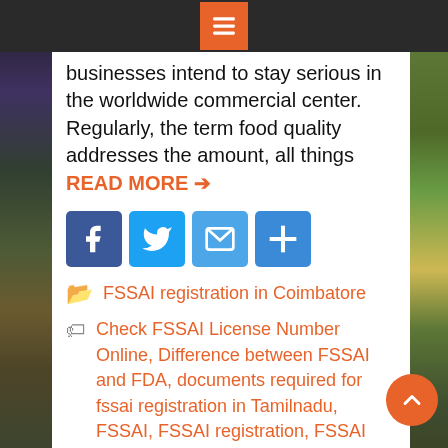Menu icon header bar
businesses intend to stay serious in the worldwide commercial center. Regularly, the term food quality addresses the amount, all things READ MORE ➔
[Figure (infographic): Social sharing buttons: Facebook (blue), Twitter (light blue), Email (blue envelope), Share (blue plus)]
FSSAI registration in Coimbatore
Check FSSAI License Number Online, Difference between FSSAI and FDA, documents required for fssai registration in Tamilnadu, FSSAI, FSSAI registration, FSSAI registration in Coimbatore, fssai registration in Coimbatore Ramanathapuram, fssai registration in Coimbatore Singanallur, fssai registration in India, FSSAI registration in Ramanathapuram Coimbatore, FSSAI registration in Singanallur Coimbatore, how to do fssai registration